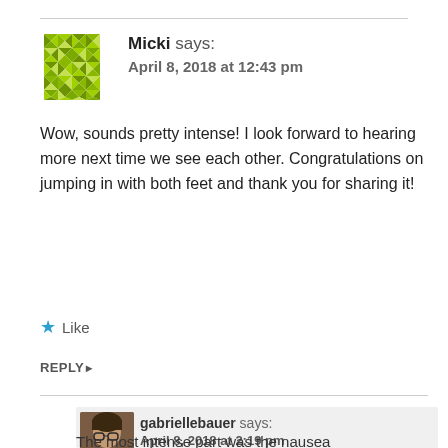[Figure (illustration): Green geometric/quilt-pattern avatar icon for user Micki]
Micki says:
April 8, 2018 at 12:43 pm
Wow, sounds pretty intense! I look forward to hearing more next time we see each other. Congratulations on jumping in with both feet and thank you for sharing it!
★ Like
REPLY ▸
[Figure (photo): Profile photo of gabriellebauer — woman with glasses]
gabriellebauer says:
April 8, 2018 at 2:19 pm
The most intense part was the nausea